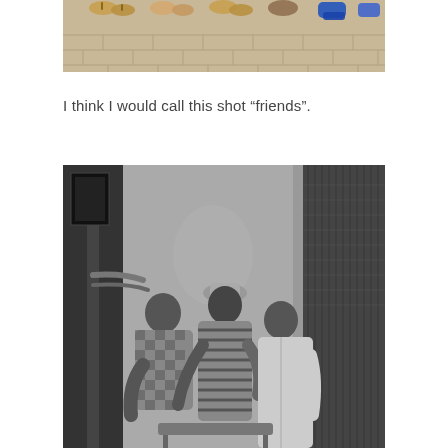[Figure (photo): Top portion of a color photograph showing people's feet and shoes standing on a brick/paved surface. Multiple pairs of feet visible including sandals and sneakers.]
I think I would call this shot "friends".
[Figure (photo): Black and white photograph of three men gathered together, viewed from behind/side. A lamp post is visible on the left side. The right side shows a dark curtain or mesh screen. The men appear to be looking at something on a table or surface.]